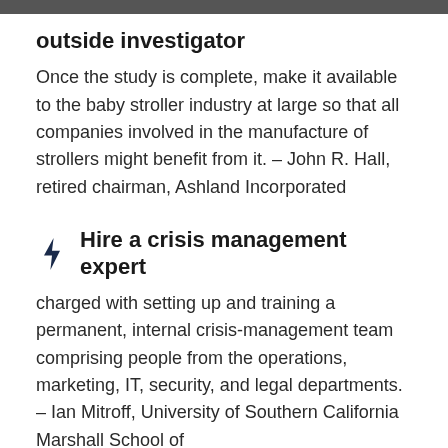outside investigator
Once the study is complete, make it available to the baby stroller industry at large so that all companies involved in the manufacture of strollers might benefit from it. – John R. Hall, retired chairman, Ashland Incorporated
Hire a crisis management expert
charged with setting up and training a permanent, internal crisis-management team comprising people from the operations, marketing, IT, security, and legal departments. – Ian Mitroff, University of Southern California Marshall School of